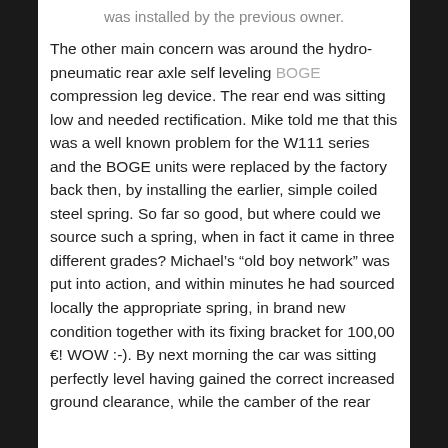was installed by the previous owner.
The other main concern was around the hydro-pneumatic rear axle self leveling BOGE compression leg device. The rear end was sitting low and needed rectification. Mike told me that this was a well known problem for the W111 series and the BOGE units were replaced by the factory back then, by installing the earlier, simple coiled steel spring. So far so good, but where could we source such a spring, when in fact it came in three different grades? Michael’s “old boy network” was put into action, and within minutes he had sourced locally the appropriate spring, in brand new condition together with its fixing bracket for 100,00 €! WOW :-). By next morning the car was sitting perfectly level having gained the correct increased ground clearance, while the camber of the rear